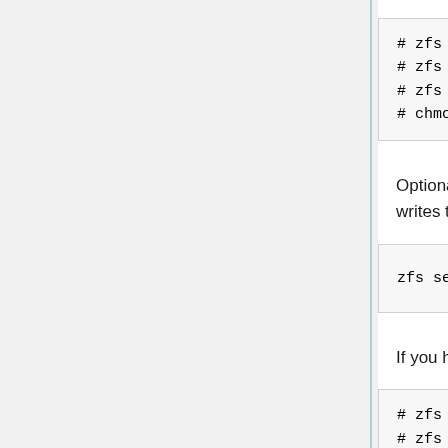[Figure (screenshot): Code block showing zfs create and chmod commands]
Optionally disable keeping track of the access time of file (this reduces the number of writes to a SSD):
[Figure (screenshot): Code block showing: zfs set atime=off zroot]
If you have not create a swap device, you can create a swap dataset:
[Figure (screenshot): Code block showing zfs create -V8G zroot/swap, zfs set org.freebsd:swap=on, zfs set checksum=off zroot/sw]
Otherwise, make sure to mount your